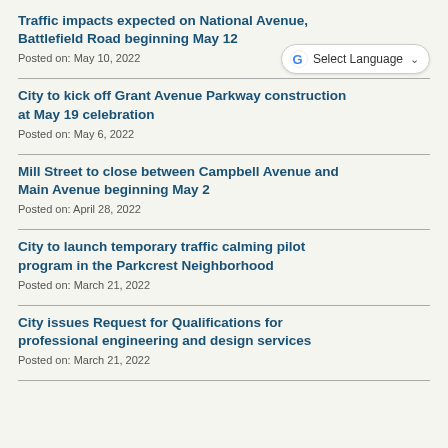Traffic impacts expected on National Avenue, Battlefield Road beginning May 12
Posted on: May 10, 2022
City to kick off Grant Avenue Parkway construction at May 19 celebration
Posted on: May 6, 2022
Mill Street to close between Campbell Avenue and Main Avenue beginning May 2
Posted on: April 28, 2022
City to launch temporary traffic calming pilot program in the Parkcrest Neighborhood
Posted on: March 21, 2022
City issues Request for Qualifications for professional engineering and design services
Posted on: March 21, 2022